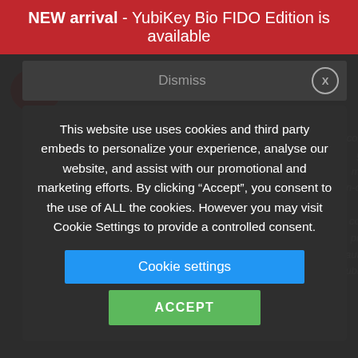NEW arrival - YubiKey Bio FIDO Edition is available
Dismiss
This website use uses cookies and third party embeds to personalize your experience, analyse our website, and assist with our promotional and marketing efforts. By clicking “Accept”, you consent to the use of ALL the cookies. However you may visit Cookie Settings to provide a controlled consent.
Cookie settings
ACCEPT
compelling option for secure generation, storage and management of keys. Key on-chip hardware isolated from ope the server. Most common use cases involve protecting of the certificate authorities (CAs) private key. YubiHSM 2 capabilities include: